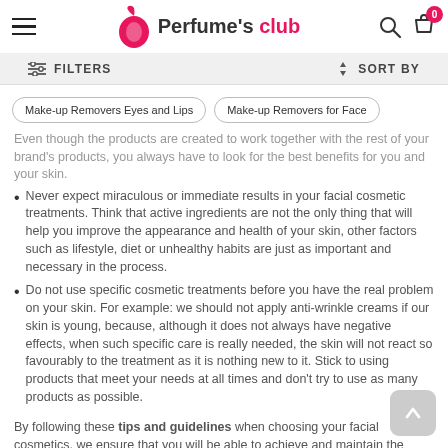Perfume's club — navigation header with hamburger menu, logo, search and bag icons
FILTERS    SORT BY
Make-up Removers Eyes and Lips
Make-up Removers for Face
Even though the products are created to work together with the rest of your brand's products, you always have to look for the best benefits for you and your skin.
Never expect miraculous or immediate results in your facial cosmetic treatments. Think that active ingredients are not the only thing that will help you improve the appearance and health of your skin, other factors such as lifestyle, diet or unhealthy habits are just as important and necessary in the process.
Do not use specific cosmetic treatments before you have the real problem on your skin. For example: we should not apply anti-wrinkle creams if our skin is young, because, although it does not always have negative effects, when such specific care is really needed, the skin will not react so favourably to the treatment as it is nothing new to it. Stick to using products that meet your needs at all times and don't try to use as many products as possible.
By following these tips and guidelines when choosing your facial cosmetics, we ensure that you will be able to achieve and maintain the beauty we all pursue!